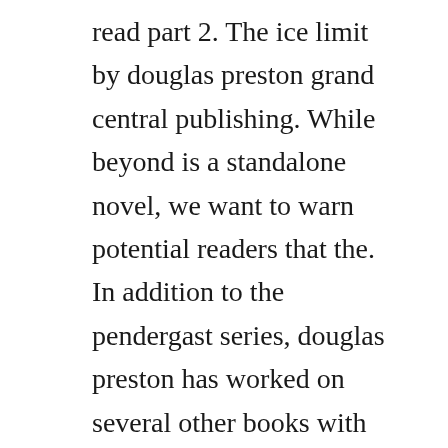read part 2. The ice limit by douglas preston grand central publishing. While beyond is a standalone novel, we want to warn potential readers that the. In addition to the pendergast series, douglas preston has worked on several other books with lincoln child, including the gideon crew series, including the beyond the ice limit, and several standalone novels. The fame of this novel became as a result of it being the first in the special agent pendergast tv series. Preston and childs exciting fourth gideon crew novel after 2014s the lost island satisfactorily resolves the cliffhanger with